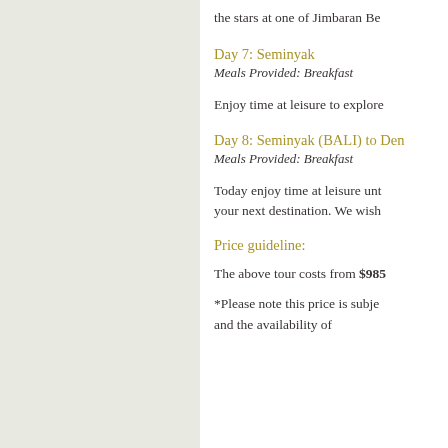the stars at one of Jimbaran Be
Day 7: Seminyak
Meals Provided: Breakfast
Enjoy time at leisure to explore
Day 8: Seminyak (BALI) to Den
Meals Provided: Breakfast
Today enjoy time at leisure unt your next destination. We wish
Price guideline:
The above tour costs from $985
*Please note this price is subje and the availability of